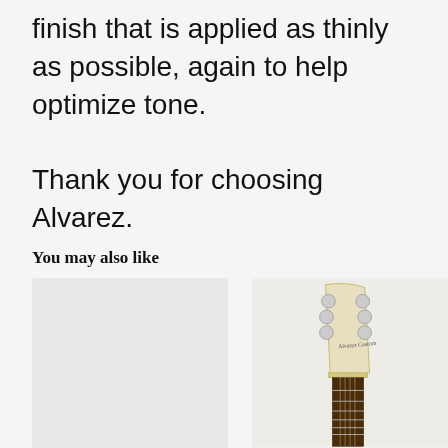finish that is applied as thinly as possible, again to help optimize tone.

Thank you for choosing Alvarez.
You may also like
[Figure (photo): Empty light gray placeholder image box for a product]
[Figure (photo): Photo of an electric guitar headstock and neck, cream/white colored with tuning pegs, fretboard visible below]